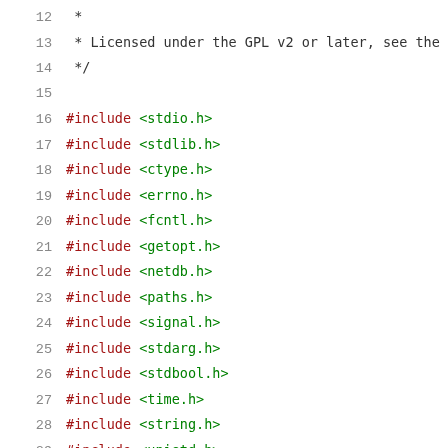12   *
13   * Licensed under the GPL v2 or later, see the
14   */
15
16   #include <stdio.h>
17   #include <stdlib.h>
18   #include <ctype.h>
19   #include <errno.h>
20   #include <fcntl.h>
21   #include <getopt.h>
22   #include <netdb.h>
23   #include <paths.h>
24   #include <signal.h>
25   #include <stdarg.h>
26   #include <stdbool.h>
27   #include <time.h>
28   #include <string.h>
29   #include <unistd.h>
30   #include <sys/socket.h>
31   #include <sys/types.h>
32   #include <sys/un.h>